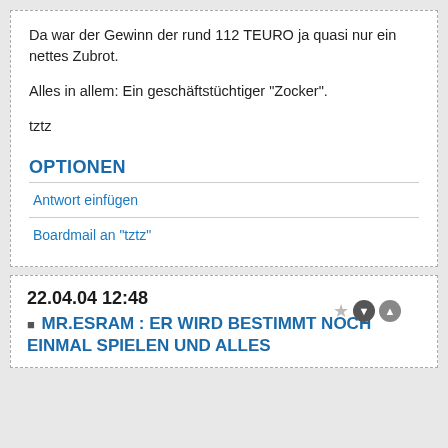Da war der Gewinn der rund 112 TEURO ja quasi nur ein nettes Zubrot.
Alles in allem: Ein geschäftstüchtiger "Zocker".
tztz
OPTIONEN
Antwort einfügen
Boardmail an "tztz"
22.04.04 12:48
MR.ESRAM : ER WIRD BESTIMMT NOCH EINMAL SPIELEN UND ALLES